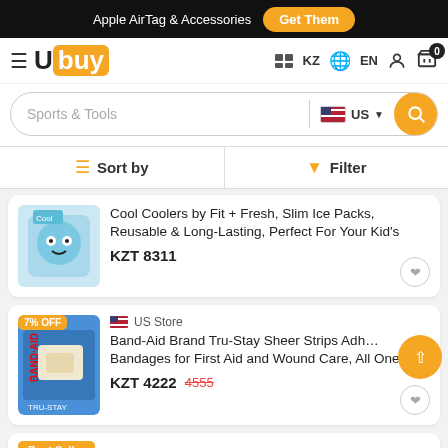Apple AirTag & Accessories  Get Them
[Figure (logo): Ubuy logo with hamburger menu, KZ country selector, EN language, user icon, cart with 0 badge]
Sports & Tools  US
Sort by  Filter
Cool Coolers by Fit + Fresh, Slim Ice Packs, Reusable & Long-Lasting, Perfect For Your Kid's
KZT 8311
7% OFF  US Store
Band-Aid Brand Tru-Stay Sheer Strips Adhesive Bandages for First Aid and Wound Care, All One
KZT 4222  4555
Best Seller